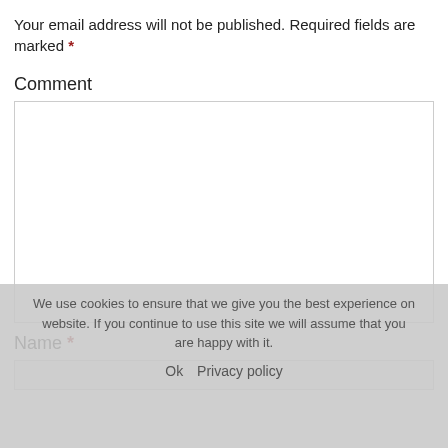Your email address will not be published. Required fields are marked *
Comment
[Comment text area - empty]
Name *
[Name input field - empty]
We use cookies to ensure that we give you the best experience on website. If you continue to use this site we will assume that you are happy with it.
Ok   Privacy policy